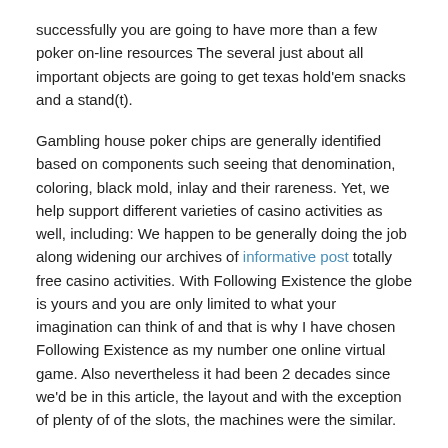successfully you are going to have more than a few poker on-line resources The several just about all important objects are going to get texas hold'em snacks and a stand(t).
Gambling house poker chips are generally identified based on components such seeing that denomination, coloring, black mold, inlay and their rareness. Yet, we help support different varieties of casino activities as well, including: We happen to be generally doing the job along widening our archives of informative post totally free casino activities. With Following Existence the globe is yours and you are only limited to what your imagination can think of and that is why I have chosen Following Existence as my number one online virtual game. Also nevertheless it had been 2 decades since we'd be in this article, the layout and with the exception of plenty of of the slots, the machines were the similar.
Online slot machine games are really very related to internet casino slot machine games, however the most significant variation is the approach you have fun. Many other preferred plank game titles similar to internet poker, baccarat and craps. Or if you prefer funds have fun, we might aid you come across the best normal funds casinos. While nearly all online casinos have a